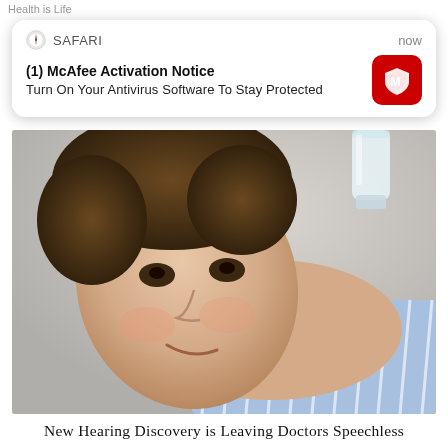Health is Life
[Figure (screenshot): iOS Safari push notification overlay showing McAfee Activation Notice: '(1) McAfee Activation Notice — Turn On Your Antivirus Software To Stay Protected' with McAfee red icon, timestamp 'now']
[Figure (photo): Selfie photo of a young man with curly brown hair, wearing a blue striped shirt, head tilted sideways holding a clear water bottle near his ear]
New Hearing Discovery is Leaving Doctors Speechless